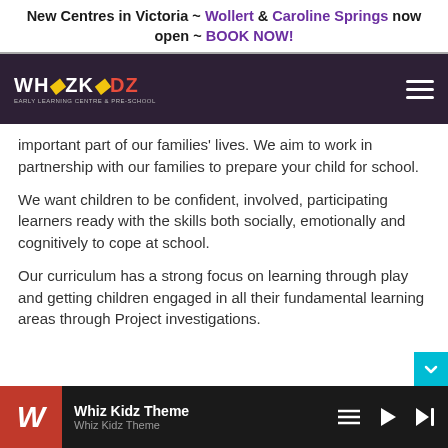New Centres in Victoria ~ Wollert & Caroline Springs now open ~ BOOK NOW!
[Figure (screenshot): WhizKidz Early Learning Centre & Pre-School navigation bar with logo and hamburger menu on dark purple background]
important part of our families' lives. We aim to work in partnership with our families to prepare your child for school.
We want children to be confident, involved, participating learners ready with the skills both socially, emotionally and cognitively to cope at school.
Our curriculum has a strong focus on learning through play and getting children engaged in all their fundamental learning areas through Project investigations.
Whiz Kidz Theme | Whiz Kidz Theme